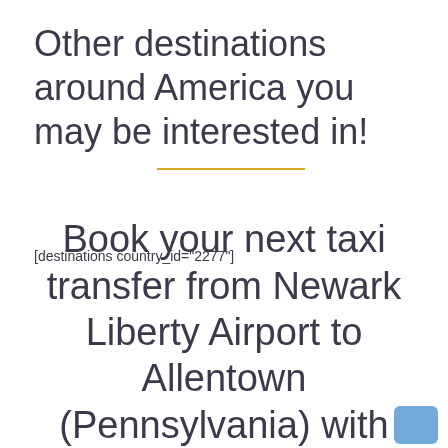Other destinations around America you may be interested in!
[destinations country_id="2277"]
Book your next taxi transfer from Newark Liberty Airport to Allentown (Pennsylvania) with